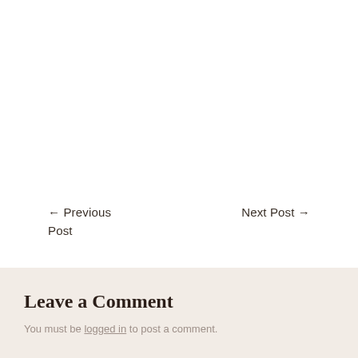← Previous Post
Next Post →
Leave a Comment
You must be logged in to post a comment.